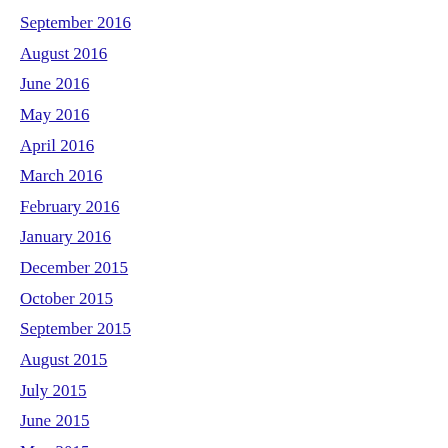September 2016
August 2016
June 2016
May 2016
April 2016
March 2016
February 2016
January 2016
December 2015
October 2015
September 2015
August 2015
July 2015
June 2015
May 2015